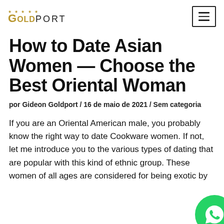GOLDPORT
How to Date Asian Women – Choose the Best Oriental Woman
por Gideon Goldport / 16 de maio de 2021 / Sem categoria
If you are an Oriental American male, you probably know the right way to date Cookware women. If not, let me introduce you to the various types of dating that are popular with this kind of ethnic group. These women of all ages are considered for being exotic by